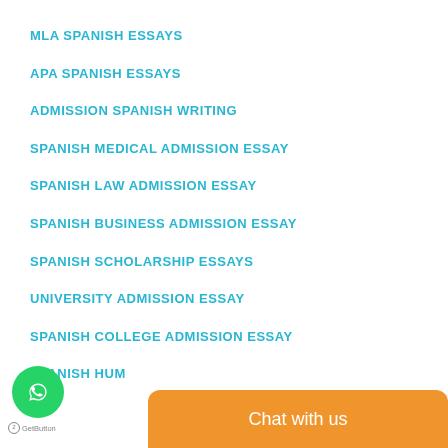MLA SPANISH ESSAYS
APA SPANISH ESSAYS
ADMISSION SPANISH WRITING
SPANISH MEDICAL ADMISSION ESSAY
SPANISH LAW ADMISSION ESSAY
SPANISH BUSINESS ADMISSION ESSAY
SPANISH SCHOLARSHIP ESSAYS
UNIVERSITY ADMISSION ESSAY
SPANISH COLLEGE ADMISSION ESSAY
SPANISH HUM...
[Figure (other): WhatsApp chat button and GetButton widget at bottom left, and orange 'Chat with us' bar at bottom right]